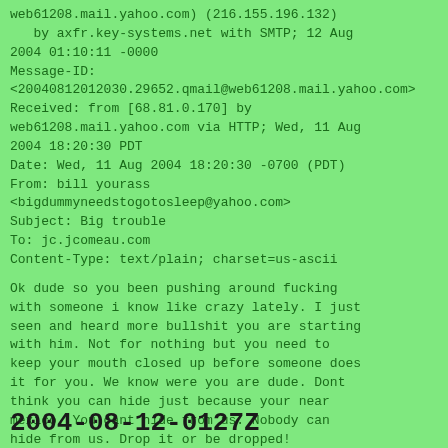web61208.mail.yahoo.com) (216.155.196.132)
   by axfr.key-systems.net with SMTP; 12 Aug 2004 01:10:11 -0000
Message-ID:
<20040812012030.29652.qmail@web61208.mail.yahoo.com>
Received: from [68.81.0.170] by web61208.mail.yahoo.com via HTTP; Wed, 11 Aug 2004 18:20:30 PDT
Date: Wed, 11 Aug 2004 18:20:30 -0700 (PDT)
From: bill yourass <bigdummyneedstogotosleep@yahoo.com>
Subject: Big trouble
To: jc.jcomeau.com
Content-Type: text/plain; charset=us-ascii
Ok dude so you been pushing around fucking with someone i know like crazy lately. I just seen and heard more bullshit you are starting with him. Not for nothing but you need to keep your mouth closed up before someone does it for you. We know were you are dude. Dont think you can hide just because your near mexico. You cant hide from us. Nobody can hide from us. Drop it or be dropped!
[comment]
2004-08-12-0127Z